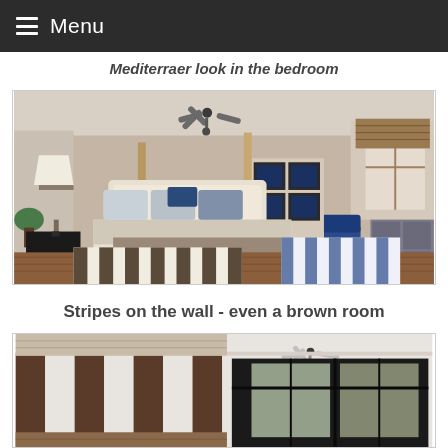Menu
Mediterraer look in the bedroom
[Figure (photo): Mediterranean style bedroom with four-poster bed, ceiling fan, striped rug, blue velvet chair, framed blue botanical prints on wall, table lamp, and hardwood floor]
Stripes on the wall - even a brown room
[Figure (photo): Brown and white striped bedroom with ceiling fan, dark wood paneling, large windows, and white ceiling]